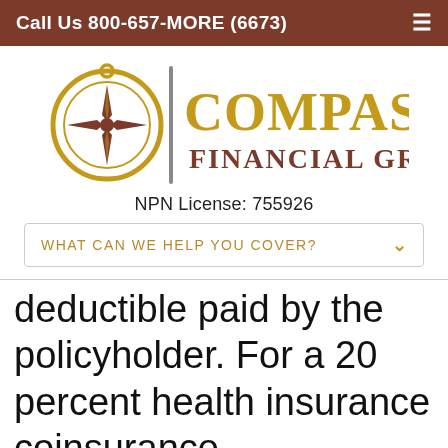Call Us 800-657-MORE (6673)
[Figure (logo): Compass Financial Group, Inc logo with compass rose icon and golden/brown text]
NPN License: 755926
WHAT CAN WE HELP YOU COVER?
deductible paid by the policyholder. For a 20 percent health insurance coinsurance clause, the